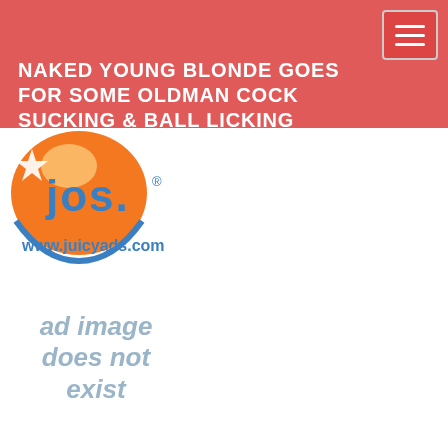NAKED YOUNG BLONDE GOES FOR SOME OLDMAN COCK SUCKING & BALL LICKING OUTDOORS
[Figure (logo): JuicyAds logo with orange circular design and text www.juicyads.com]
[Figure (other): Ad placeholder with text: ad image does not exist]